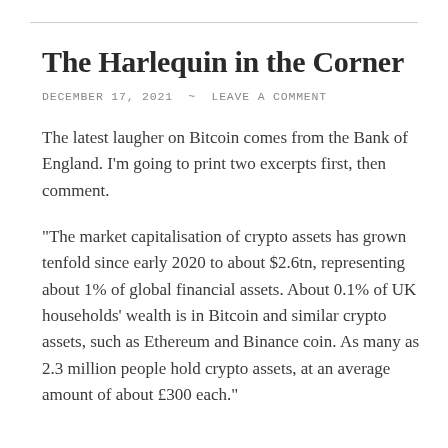The Harlequin in the Corner
DECEMBER 17, 2021  ~  LEAVE A COMMENT
The latest laugher on Bitcoin comes from the Bank of England. I'm going to print two excerpts first, then comment.
"The market capitalisation of crypto assets has grown tenfold since early 2020 to about $2.6tn, representing about 1% of global financial assets. About 0.1% of UK households' wealth is in Bitcoin and similar crypto assets, such as Ethereum and Binance coin. As many as 2.3 million people hold crypto assets, at an average amount of about £300 each."